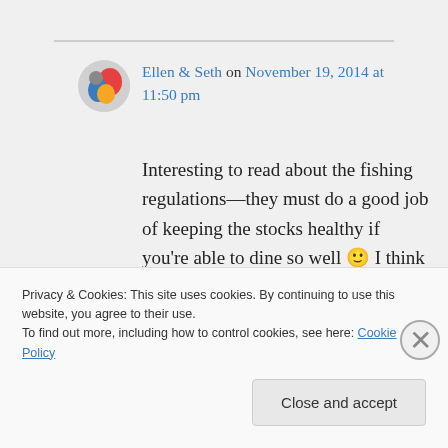Ellen & Seth on November 19, 2014 at 11:50 pm
Interesting to read about the fishing regulations—they must do a good job of keeping the stocks healthy if you're able to dine so well 🙂 I think crayfish is what Americans call rock lobster rather than Maine lobster—they taste a little different but are
Privacy & Cookies: This site uses cookies. By continuing to use this website, you agree to their use.
To find out more, including how to control cookies, see here: Cookie Policy
Close and accept